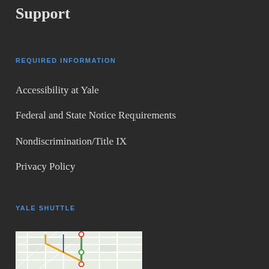Support
REQUIRED INFORMATION
Accessibility at Yale
Federal and State Notice Requirements
Nondiscrimination/Title IX
Privacy Policy
YALE SHUTTLE
[Figure (map): Map showing Yale shuttle routes in New Haven area with colored route lines and location pins]